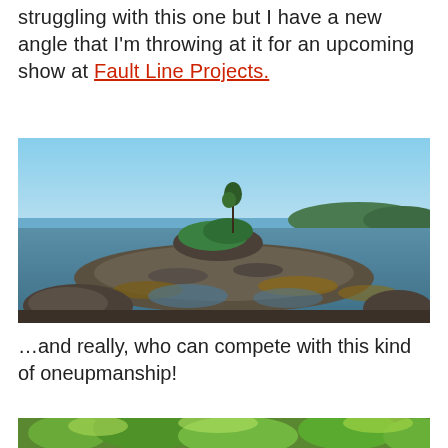struggling with this one but I have a new angle that I'm throwing at it for an upcoming show at Fault Line Projects.
[Figure (photo): Coastal landscape photograph showing a rocky tidal flat with a small island or rock formation in the center bearing a lone tree and shrubby vegetation. Calm blue water surrounds the rocks, with kelp visible. Blue sky and distant forested hills in the background.]
…and really, who can compete with this kind of oneupmanship!
[Figure (photo): Partial view of a lush green forest or garden scene, cropped at the bottom of the page.]